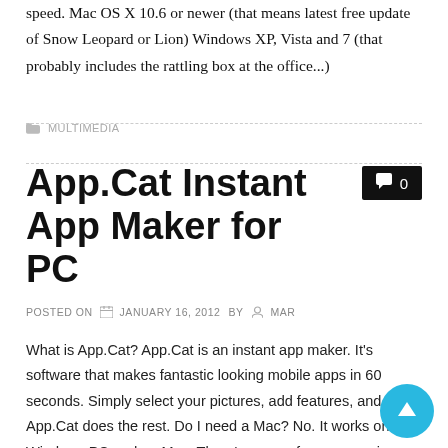speed. Mac OS X 10.6 or newer (that means latest free update of Snow Leopard or Lion) Windows XP, Vista and 7 (that probably includes the rattling box at the office...)
MULTIMEDIA
App.Cat Instant App Maker for PC
POSTED ON  JANUARY 16, 2012  BY  MAR
What is App.Cat? App.Cat is an instant app maker. It's software that makes fantastic looking mobile apps in 60 seconds. Simply select your pictures, add features, and App.Cat does the rest. Do I need a Mac? No. It works on Windows PC and on Mac. There's even a free companion iPhone app in the app store so you edit your apps on the move. We're Apple-approved and Windows open... Is it difficult? It's very simple and intuitive to use. No